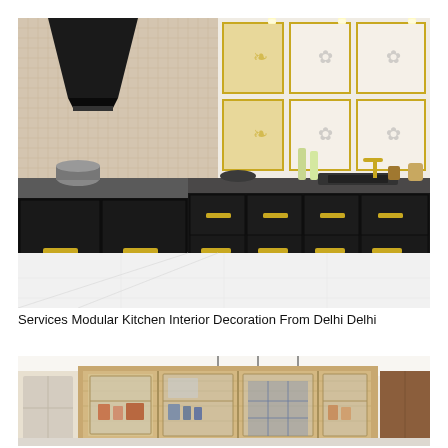[Figure (photo): Luxury modular kitchen with black glossy cabinets with gold handles, black countertop, L-shaped layout, wall-mounted range hood, decorative tiled backsplash with gold ornamental patterns, bottles and bowls on counter, white tiled floor.]
Services Modular Kitchen Interior Decoration From Delhi Delhi
[Figure (photo): Modern kitchen interior with light wood cabinets featuring glass doors, open shelving with items, pendant lights hanging from white ceiling, white walls, natural wood tones.]